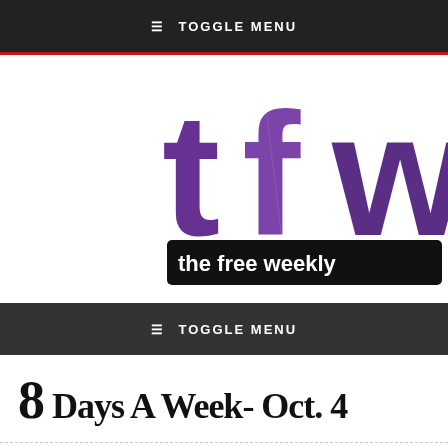≡ TOGGLE MENU
[Figure (logo): tfw - the free weekly logo in purple grunge style text with black banner subtitle]
≡ TOGGLE MENU
8 Days A Week- Oct. 4
[Figure (infographic): Social sharing buttons: Facebook (blue), Twitter (light blue), LinkedIn (dark blue), Google+ (red)]